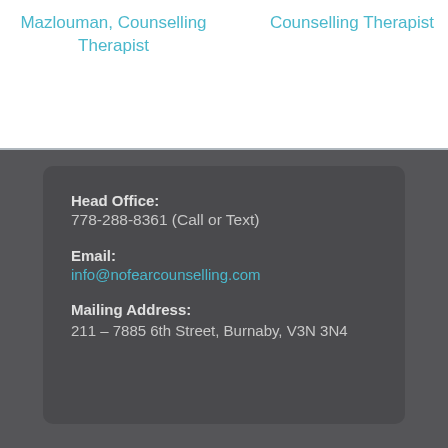Mazlouman, Counselling Therapist
Counselling Therapist
Head Office:
778-288-8361 (Call or Text)
Email:
info@nofearcounselling.com
Mailing Address:
211 – 7885 6th Street, Burnaby, V3N 3N4